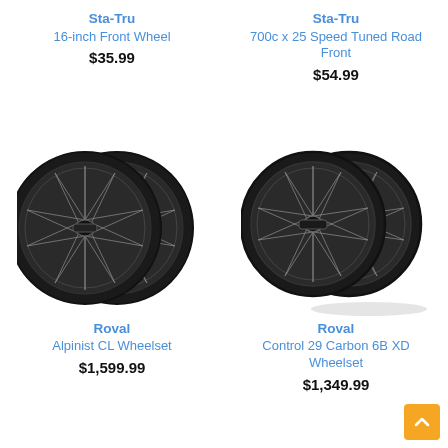Sta-Tru
16-inch Front Wheel
$35.99
Sta-Tru
700c x 25 Speed Tuned Road Front
$54.99
[Figure (photo): Two black carbon bicycle wheels (Roval Alpinist CL Wheelset)]
Roval
Alpinist CL Wheelset
$1,599.99
[Figure (photo): Two black carbon bicycle wheels (Roval Control 29 Carbon 6B XD Wheelset)]
Roval
Control 29 Carbon 6B XD Wheelset
$1,349.99